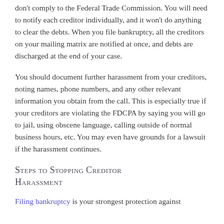don't comply to the Federal Trade Commission. You will need to notify each creditor individually, and it won't do anything to clear the debts. When you file bankruptcy, all the creditors on your mailing matrix are notified at once, and debts are discharged at the end of your case.
You should document further harassment from your creditors, noting names, phone numbers, and any other relevant information you obtain from the call. This is especially true if your creditors are violating the FDCPA by saying you will go to jail, using obscene language, calling outside of normal business hours, etc. You may even have grounds for a lawsuit if the harassment continues.
Steps to Stopping Creditor Harassment
Filing bankruptcy is your strongest protection against